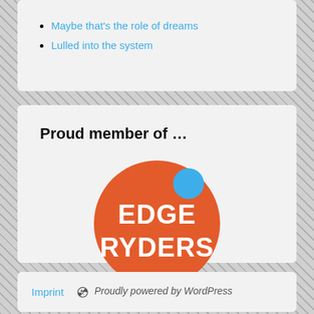Maybe that's the role of dreams
Lulled into the system
Proud member of …
[Figure (logo): Edgeryders logo — orange circle with white bold text EDGE RYDERS and a blue speech bubble dot]
Imprint   Proudly powered by WordPress